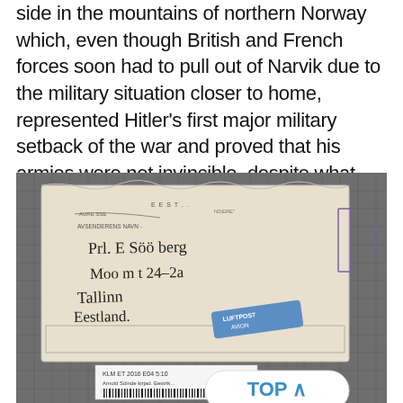side in the mountains of northern Norway which, even though British and French forces soon had to pull out of Narvik due to the military situation closer to home, represented Hitler's first major military setback of the war and proved that his armies were not invincible, despite what the Nazi propaganda would have.
[Figure (photo): Photograph of an old handwritten envelope addressed to Prl. E Söö berg, Moo m t 24-2a, Tallinn, Eestland. The envelope has stamps and labels including a blue LUFTPOST/AVION airmail sticker and a purple rectangular stamp on the right side. At the bottom is a museum barcode label reading KLM ET 2016 E04 5:10, Arnold Söinde kirjad. Eestrik... A 'TOP ^' button overlay appears at the bottom right of the image.]